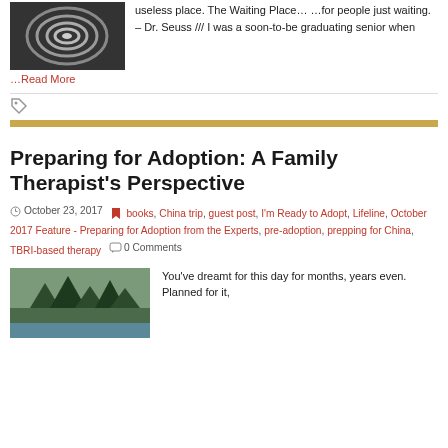[Figure (photo): Black and white photo, circular/spiral shapes, top-left area]
useless place. The Waiting Place… …for people just waiting. – Dr. Seuss /// I was a soon-to-be graduating senior when …Read More
[Figure (other): Tag/bookmark icon]
[Figure (other): Gold horizontal divider bar]
Preparing for Adoption: A Family Therapist's Perspective
October 23, 2017   books, China trip, guest post, I'm Ready to Adopt, Lifeline, October 2017 Feature - Preparing for Adoption from the Experts, pre-adoption, prepping for China, TBRI-based therapy   0 Comments
[Figure (photo): Forest/trees landscape photo at bottom left]
You've dreamt for this day for months, years even. Planned for it,